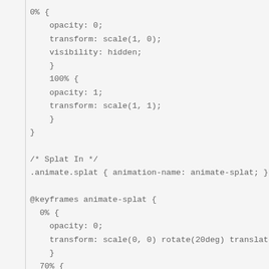0% {
    opacity: 0;
    transform: scale(1, 0);
    visibility: hidden;
}
100% {
    opacity: 1;
    transform: scale(1, 1);
}
}

/* Splat In */
.animate.splat { animation-name: animate-splat; }

@keyframes animate-splat {
  0% {
    opacity: 0;
    transform: scale(0, 0) rotate(20deg) translate(0,
    }
  70% {
    opacity: 1;
    transform: scale(1.1, 1.1) rotate(15deg));
  }
  85% {
    opacity: 1;
    transform: scale(1.1, 1.1) rotate(15deg) translate
  }